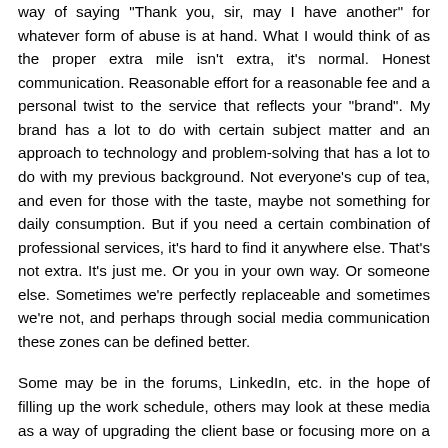way of saying "Thank you, sir, may I have another" for whatever form of abuse is at hand. What I would think of as the proper extra mile isn't extra, it's normal. Honest communication. Reasonable effort for a reasonable fee and a personal twist to the service that reflects your "brand". My brand has a lot to do with certain subject matter and an approach to technology and problem-solving that has a lot to do with my previous background. Not everyone's cup of tea, and even for those with the taste, maybe not something for daily consumption. But if you need a certain combination of professional services, it's hard to find it anywhere else. That's not extra. It's just me. Or you in your own way. Or someone else. Sometimes we're perfectly replaceable and sometimes we're not, and perhaps through social media communication these zones can be defined better.
Some may be in the forums, LinkedIn, etc. in the hope of filling up the work schedule, others may look at these media as a way of upgrading the client base or focusing more on a particularly enjoyable area, and others have very different goals. My heavy involvement with the ProZ forums